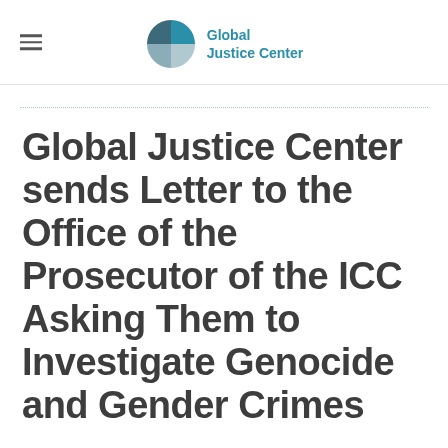Global Justice Center
Global Justice Center sends Letter to the Office of the Prosecutor of the ICC Asking Them to Investigate Genocide and Gender Crimes